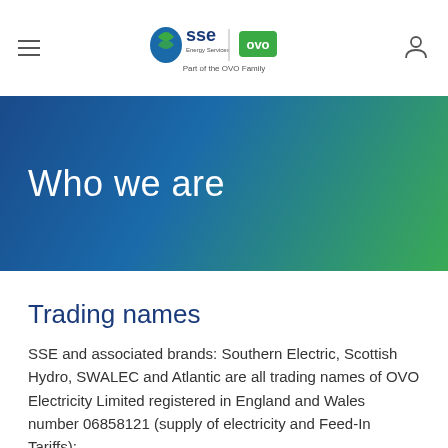SSE Energy Services | Part of the OVO Family
Who we are
Trading names
SSE and associated brands: Southern Electric, Scottish Hydro, SWALEC and Atlantic are all trading names of OVO Electricity Limited registered in England and Wales number 06858121 (supply of electricity and Feed-In Tariffs):